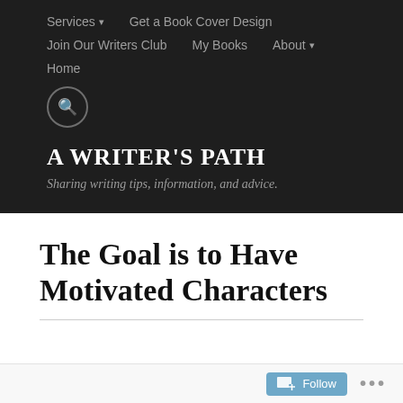Services ▾   Get a Book Cover Design   Join Our Writers Club   My Books   About ▾   Home
A WRITER'S PATH
Sharing writing tips, information, and advice.
The Goal is to Have Motivated Characters